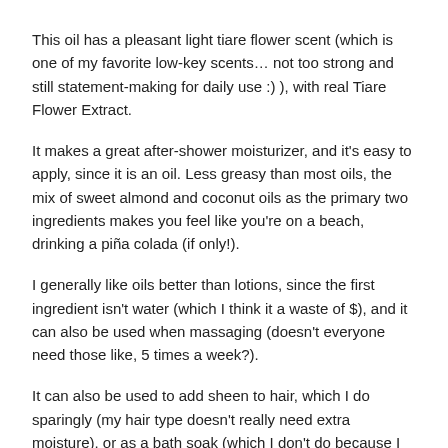This oil has a pleasant light tiare flower scent (which is one of my favorite low-key scents… not too strong and still statement-making for daily use :) ), with real Tiare Flower Extract.
It makes a great after-shower moisturizer, and it's easy to apply, since it is an oil. Less greasy than most oils, the mix of sweet almond and coconut oils as the primary two ingredients makes you feel like you're on a beach, drinking a piña colada (if only!).
I generally like oils better than lotions, since the first ingredient isn't water (which I think it a waste of $), and it can also be used when massaging (doesn't everyone need those like, 5 times a week?).
It can also be used to add sheen to hair, which I do sparingly (my hair type doesn't really need extra moisture), or as a bath soak (which I don't do because I think it's a waste of product), if you prefer that.
The oil is quite pricey at $20.00 normally, so I advise you to subscribe to their emails for when they have those special sales (which thankfully, is often).